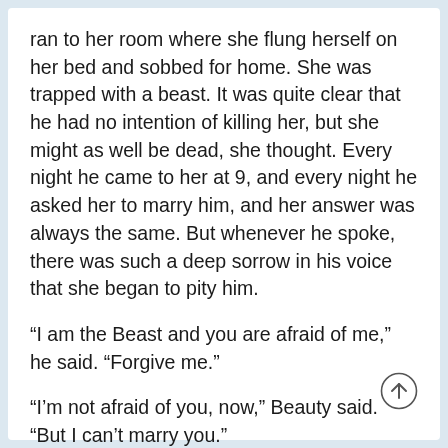ran to her room where she flung herself on her bed and sobbed for home. She was trapped with a beast. It was quite clear that he had no intention of killing her, but she might as well be dead, she thought. Every night he came to her at 9, and every night he asked her to marry him, and her answer was always the same. But whenever he spoke, there was such a deep sorrow in his voice that she began to pity him.
“I am the Beast and you are afraid of me,” he said. “Forgive me.”
“I’m not afraid of you, now,” Beauty said. “But I can’t marry you.”